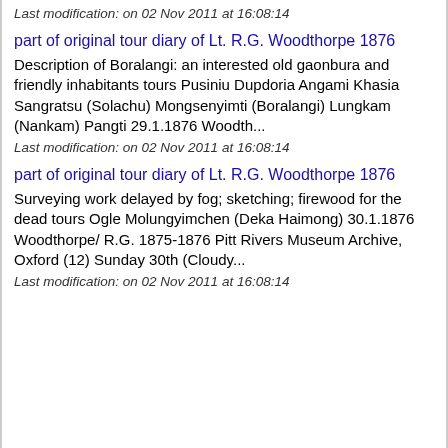Last modification: on 02 Nov 2011 at 16:08:14
part of original tour diary of Lt. R.G. Woodthorpe 1876
Description of Boralangi: an interested old gaonbura and friendly inhabitants tours Pusiniu Dupdoria Angami Khasia Sangratsu (Solachu) Mongsenyimti (Boralangi) Lungkam (Nankam) Pangti 29.1.1876 Woodth...
Last modification: on 02 Nov 2011 at 16:08:14
part of original tour diary of Lt. R.G. Woodthorpe 1876
Surveying work delayed by fog; sketching; firewood for the dead tours Ogle Molungyimchen (Deka Haimong) 30.1.1876 Woodthorpe/ R.G. 1875-1876 Pitt Rivers Museum Archive, Oxford (12) Sunday 30th (Cloudy...
Last modification: on 02 Nov 2011 at 16:08:14